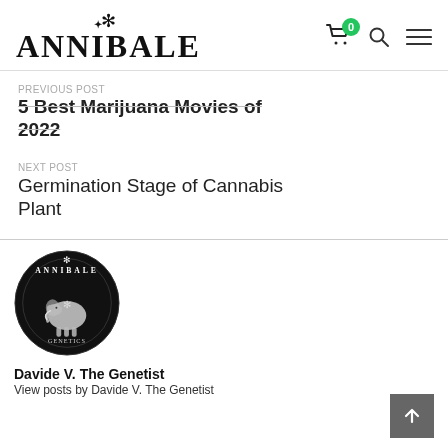ANNIBALE
5 Best Marijuana Movies of 2022
NEXT POST
Germination Stage of Cannabis Plant
[Figure (logo): Annibale circular logo with elephant and cannabis leaf, black circle with white text and illustration]
Davide V. The Genetist
View posts by Davide V. The Genetist